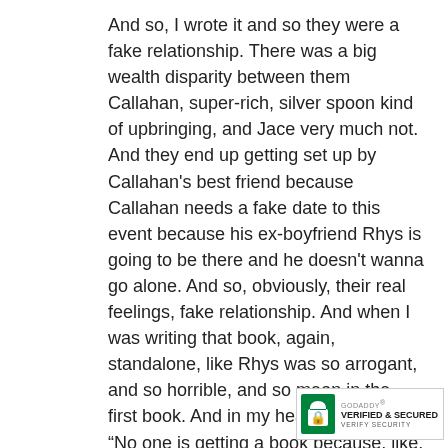And so, I wrote it and so they were a fake relationship. There was a big wealth disparity between them Callahan, super-rich, silver spoon kind of upbringing, and Jace very much not. And they end up getting set up by Callahan's best friend because Callahan needs a fake date to this event because his ex-boyfriend Rhys is going to be there and he doesn't wanna go alone. And so, obviously, their real feelings, fake relationship. And when I was writing that book, again, standalone, like Rhys was so arrogant, and so horrible, and so mean in the first book. And in my head, I was like, “No one is getting a book because, like, this character is a jerk and nobody's gonna want me to write him a book.” But again, my PA, Amy was like, “I like Rhys.” I'm like, “No,” like, no.”
So that was the first book, Jace and Callahan conquering Rhys who's a horrible pers
[Figure (logo): GoDaddy Verified & Secured trust badge/seal with green lock icon]